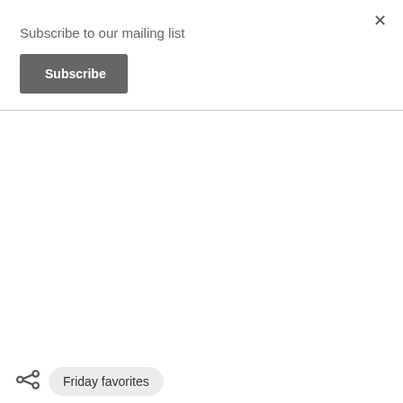×
Subscribe to our mailing list
Subscribe
Friday favorites